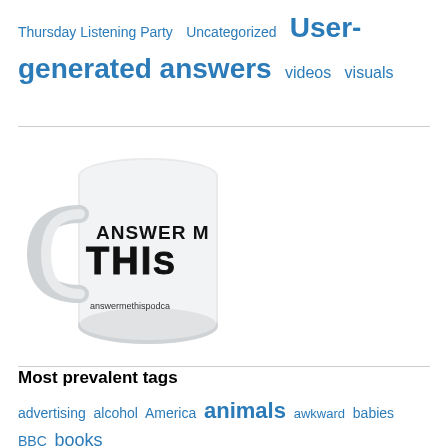Thursday Listening Party  Uncategorized  User-generated answers  videos  visuals
[Figure (photo): A white coffee mug with 'ANSWER ME THIS' printed on it and 'answermethispodcast' URL, photographed against a white background]
Most prevalent tags
advertising  alcohol  America  animals  awkward  babies  BBC  books  booze  cats  children  Christmas  clothes  ...